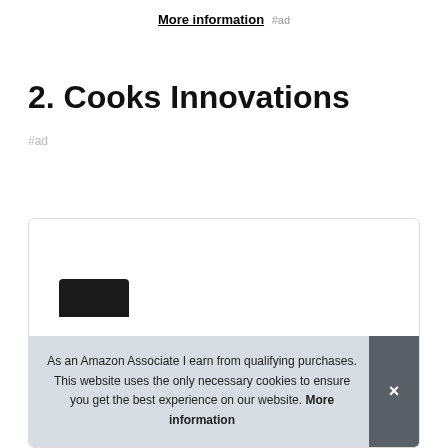More information #ad
2. Cooks Innovations
#ad
[Figure (photo): Product image box with dark background showing a Cooks Innovations product, partially visible]
As an Amazon Associate I earn from qualifying purchases. This website uses the only necessary cookies to ensure you get the best experience on our website. More information